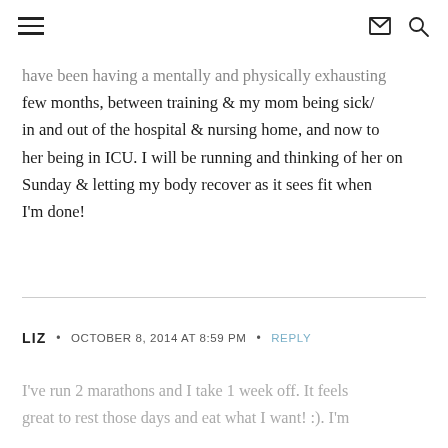[hamburger menu icon] [mail icon] [search icon]
have been having a mentally and physically exhausting few months, between training & my mom being sick/in and out of the hospital & nursing home, and now to her being in ICU. I will be running and thinking of her on Sunday & letting my body recover as it sees fit when I'm done!
LIZ  •  OCTOBER 8, 2014 AT 8:59 PM  •  REPLY
I've run 2 marathons and I take 1 week off. It feels great to rest those days and eat what I want! :). I'm